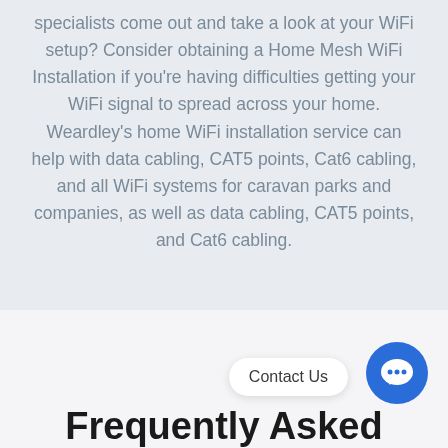specialists come out and take a look at your WiFi setup? Consider obtaining a Home Mesh WiFi Installation if you're having difficulties getting your WiFi signal to spread across your home. Weardley's home WiFi installation service can help with data cabling, CAT5 points, Cat6 cabling, and all WiFi systems for caravan parks and companies, as well as data cabling, CAT5 points, and Cat6 cabling.
Contact Us
Frequently Asked